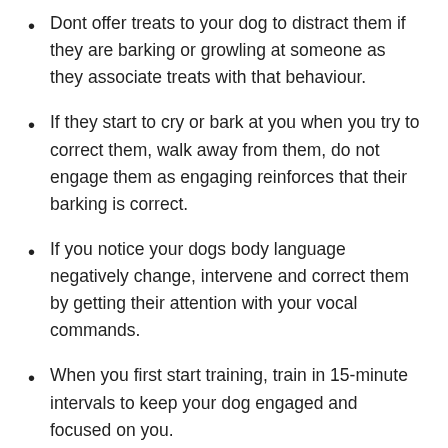Dont offer treats to your dog to distract them if they are barking or growling at someone as they associate treats with that behaviour.
If they start to cry or bark at you when you try to correct them, walk away from them, do not engage them as engaging reinforces that their barking is correct.
If you notice your dogs body language negatively change, intervene and correct them by getting their attention with your vocal commands.
When you first start training, train in 15-minute intervals to keep your dog engaged and focused on you.
Create a schedule for their training and stick to it.
Also Check: How To Draw A German Shepherd Sitting